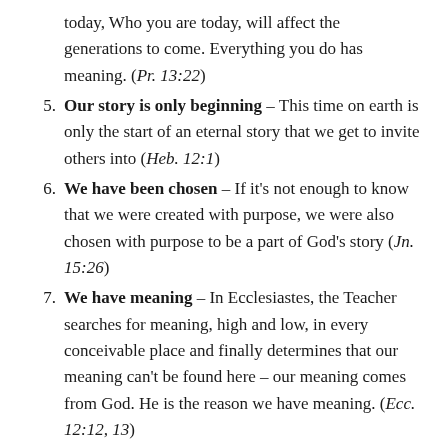today, Who you are today, will affect the generations to come. Everything you do has meaning. (Pr. 13:22)
Our story is only beginning – This time on earth is only the start of an eternal story that we get to invite others into (Heb. 12:1)
We have been chosen – If it's not enough to know that we were created with purpose, we were also chosen with purpose to be a part of God's story (Jn. 15:26)
We have meaning – In Ecclesiastes, the Teacher searches for meaning, high and low, in every conceivable place and finally determines that our meaning can't be found here – our meaning comes from God. He is the reason we have meaning. (Ecc. 12:12, 13)